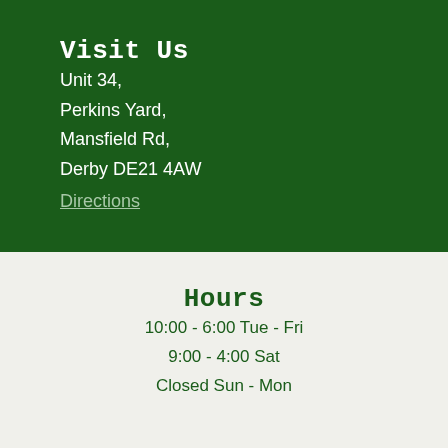Visit Us
Unit 34,
Perkins Yard,
Mansfield Rd,
Derby DE21 4AW
Directions
Hours
10:00 - 6:00 Tue - Fri
9:00 - 4:00 Sat
Closed Sun - Mon